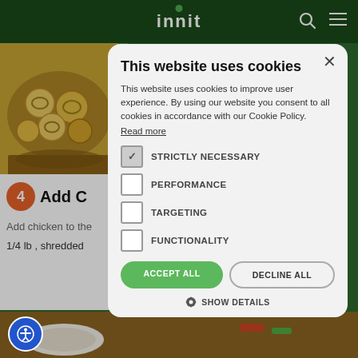[Figure (screenshot): Website header with dark green background, 'innit' logo with green dot, search and menu icons]
[Figure (photo): Close-up of pasta/tortellini in sauce, food recipe image]
4  Add C
Add chicken to the
1/4 lb , shredded
[Figure (screenshot): Cookie consent modal dialog overlay on the innit recipe website]
This website uses cookies
This website uses cookies to improve user experience. By using our website you consent to all cookies in accordance with our Cookie Policy.
Read more
STRICTLY NECESSARY
PERFORMANCE
TARGETING
FUNCTIONALITY
ACCEPT ALL
DECLINE ALL
SHOW DETAILS